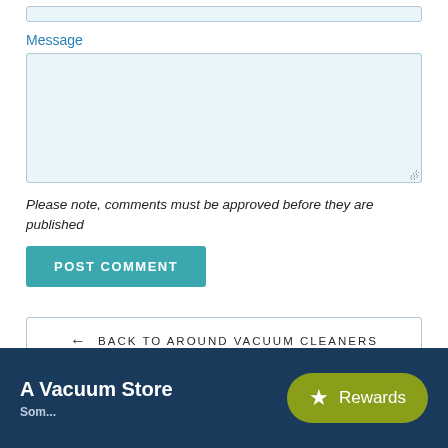Message
Please note, comments must be approved before they are published
POST COMMENT
← BACK TO AROUND VACUUM CLEANERS
A Vacuum Store
Rewards